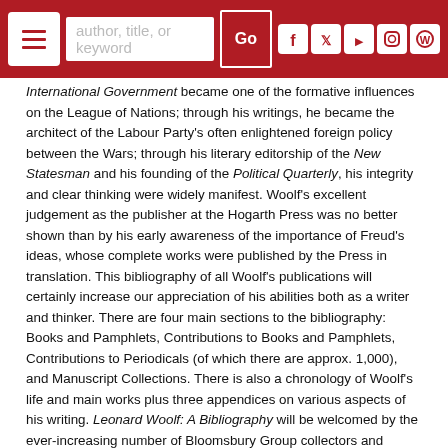Navigation bar with hamburger menu, search field (author, title, or keyword), Go button, and social media icons
International Government became one of the formative influences on the League of Nations; through his writings, he became the architect of the Labour Party's often enlightened foreign policy between the Wars; through his literary editorship of the New Statesman and his founding of the Political Quarterly, his integrity and clear thinking were widely manifest. Woolf's excellent judgement as the publisher at the Hogarth Press was no better shown than by his early awareness of the importance of Freud's ideas, whose complete works were published by the Press in translation. This bibliography of all Woolf's publications will certainly increase our appreciation of his abilities both as a writer and thinker. There are four main sections to the bibliography: Books and Pamphlets, Contributions to Books and Pamphlets, Contributions to Periodicals (of which there are approx. 1,000), and Manuscript Collections. There is also a chronology of Woolf's life and main works plus three appendices on various aspects of his writing. Leonard Woolf: A Bibliography will be welcomed by the ever-increasing number of Bloomsbury Group collectors and enthusiasts, as well as librarians and scholars in the field of literature and political history.
More On This Subject - -
Bibliography
Fine Press Books